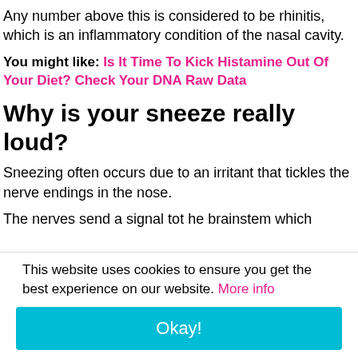Any number above this is considered to be rhinitis, which is an inflammatory condition of the nasal cavity.
You might like: Is It Time To Kick Histamine Out Of Your Diet? Check Your DNA Raw Data
Why is your sneeze really loud?
Sneezing often occurs due to an irritant that tickles the nerve endings in the nose.
The nerves send a signal tot he brainstem which
This website uses cookies to ensure you get the best experience on our website. More info
Okay!